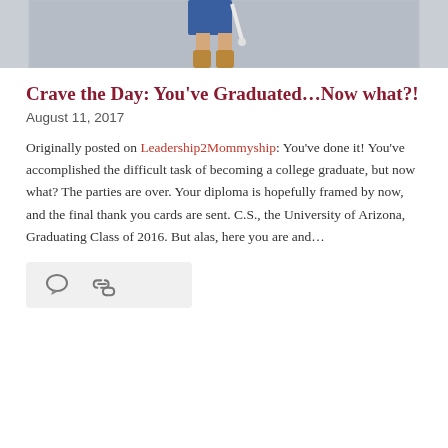[Figure (photo): Cropped photo of a person in graduation attire (blue dress, tan boots, holding a white tassel/diploma), photographed from the waist down against a light grey background.]
Crave the Day: You've Graduated…Now what?!
August 11, 2017
Originally posted on Leadership2Mommyship: You've done it! You've accomplished the difficult task of becoming a college graduate, but now what? The parties are over. Your diploma is hopefully framed by now, and the final thank you cards are sent. C.S., the University of Arizona, Graduating Class of 2016. But alas, here you are and…
[Figure (illustration): Icon bar with a speech bubble (comment) icon and a hyperlink/chain icon on a light grey background.]